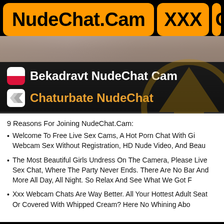NudeChat.Cam XXX
[Figure (photo): Horizontal photo strip showing partial view of person]
Bekadravt NudeChat Cam
Chaturbate NudeChat
9 Reasons For Joining NudeChat.Cam:
Welcome To Free Live Sex Cams, A Hot Porn Chat With Gi Webcam Sex Without Registration, HD Nude Video, And Beau
The Most Beautiful Girls Undress On The Camera, Please Live Sex Chat, Where The Party Never Ends. There Are No Bar And More All Day, All Night. So Relax And See What We Got F
Xxx Webcam Chats Are Way Better. All Your Hottest Adult Seat Or Covered With Whipped Cream? Here No Whining Abo